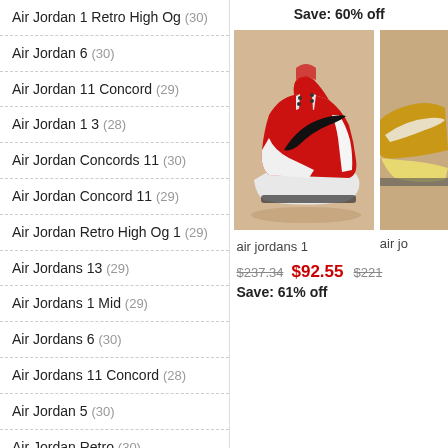Air Jordan 1 Retro High Og (30)
Air Jordan 6 (30)
Air Jordan 11 Concord (29)
Air Jordan 1 3 (28)
Air Jordan Concords 11 (30)
Air Jordan Concord 11 (29)
Air Jordan Retro High Og 1 (29)
Air Jordans 13 (29)
Air Jordans 1 Mid (29)
Air Jordans 6 (30)
Air Jordans 11 Concord (28)
Air Jordan 5 (30)
Air Jordan Retro (30)
Air Jordan 1 Nike (30)
Air Jordan Retros (29)
Air Jordan I Retro (30)
Save: 60% off
[Figure (photo): Red and white Air Jordan 1 sneaker with black Nike swoosh on beige/tan background]
air jordans 1
air jo
$237.34  $92.55  Save: 61% off
$221